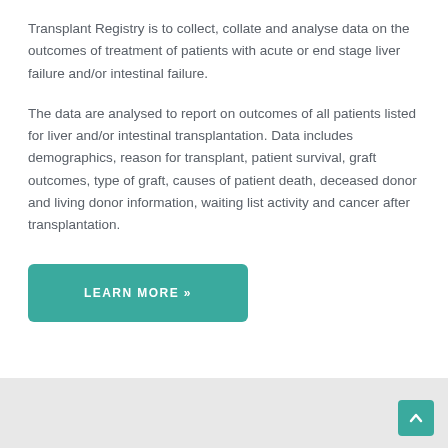Transplant Registry is to collect, collate and analyse data on the outcomes of treatment of patients with acute or end stage liver failure and/or intestinal failure.
The data are analysed to report on outcomes of all patients listed for liver and/or intestinal transplantation. Data includes demographics, reason for transplant, patient survival, graft outcomes, type of graft, causes of patient death, deceased donor and living donor information, waiting list activity and cancer after transplantation.
LEARN MORE »